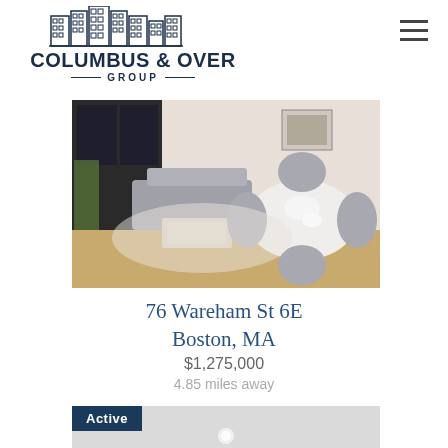[Figure (logo): Columbus & Over Group real estate logo with building icons above the text]
[Figure (photo): Interior photo of a modern living and dining area with grey chairs, a round white table, and light wood flooring]
76 Wareham St 6E
Boston, MA
$1,275,000
4.85 miles away
[Figure (photo): Partial view of a second property listing showing a light grey interior room with a recessed ceiling light, overlaid with an Active badge]